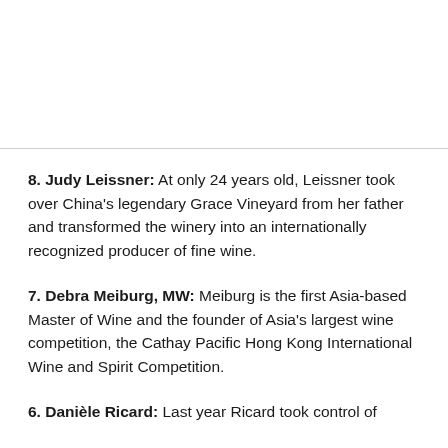8. Judy Leissner: At only 24 years old, Leissner took over China's legendary Grace Vineyard from her father and transformed the winery into an internationally recognized producer of fine wine.
7. Debra Meiburg, MW: Meiburg is the first Asia-based Master of Wine and the founder of Asia's largest wine competition, the Cathay Pacific Hong Kong International Wine and Spirit Competition.
6. Danièle Ricard: Last year Ricard took control of